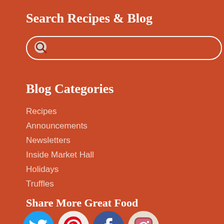Search Recipes & Blog
[Figure (other): Search input box with magnifying glass icon on burnt orange background]
Blog Categories
Recipes
Announcements
Newsletters
Inside Market Hall
Holidays
Truffles
Share More Great Food
[Figure (other): Social media icons: Twitter, Pinterest, Facebook, Instagram]